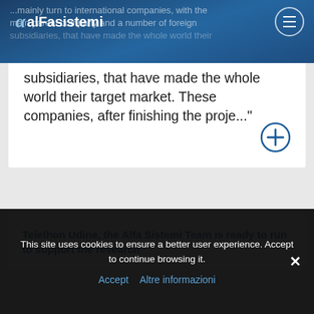alfasistemi
...mainly turn to international companies, with the main parent company and a number of foreign subsidiaries, that have made the whole world their target market. These companies, after finishing the proje..."
Telethon Udine, the Alfa Sistemi Team is ready to run to support the research
This site uses cookies to ensure a better user experience. Accept to continue browsing it.
Accept   Altre informazioni